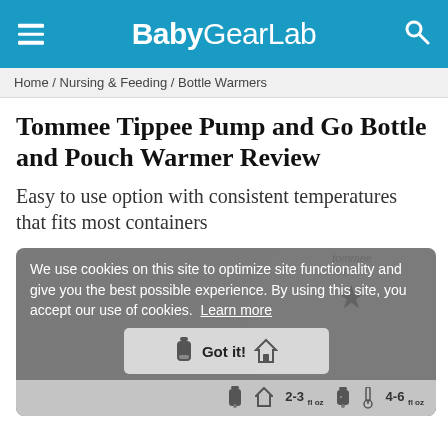BabyGearLab
Home / Nursing & Feeding / Bottle Warmers
Tommee Tippee Pump and Go Bottle and Pouch Warmer Review
Easy to use option with consistent temperatures that fits most containers
[Figure (photo): Photo of a Tommee Tippee bottle warmer, circular device shown from above, with a cookie consent overlay. Cookie text: We use cookies on this site to optimize site functionality and give you the best possible experience. By using this site, you accept our use of cookies. Learn more. Got it! button. Bottom strip shows bottle size icons: 2-3 fl oz and 4-6 fl oz.]